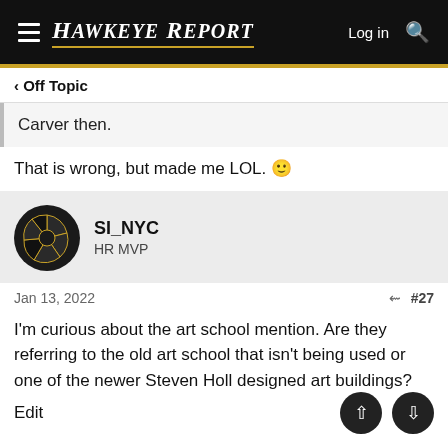HAWKEYE REPORT  Log in
< Off Topic
Carver then.
That is wrong, but made me LOL. 🙂
SI_NYC
HR MVP
Jan 13, 2022  #27
I'm curious about the art school mention. Are they referring to the old art school that isn't being used or one of the newer Steven Holl designed art buildings?
Edit